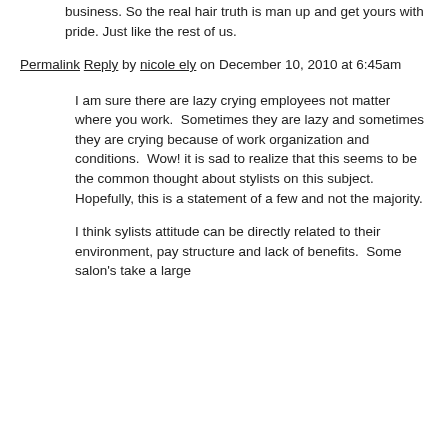business. So the real hair truth is man up and get yours with pride. Just like the rest of us.
Permalink Reply by nicole ely on December 10, 2010 at 6:45am
I am sure there are lazy crying employees not matter where you work.  Sometimes they are lazy and sometimes they are crying because of work organization and conditions.  Wow! it is sad to realize that this seems to be the common thought about stylists on this subject.  Hopefully, this is a statement of a few and not the majority.
I think sylists attitude can be directly related to their environment, pay structure and lack of benefits.  Some salon's take a large